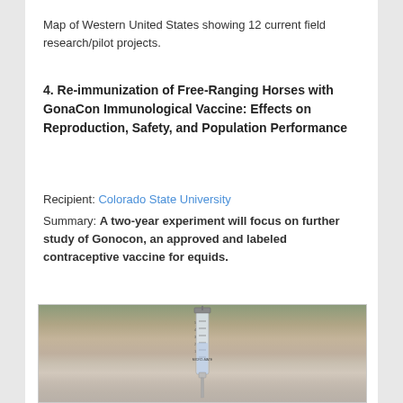Map of Western United States showing 12 current field research/pilot projects.
4. Re-immunization of Free-Ranging Horses with GonaCon Immunological Vaccine: Effects on Reproduction, Safety, and Population Performance
Recipient: Colorado State University
Summary: A two-year experiment will focus on further study of Gonocon, an approved and labeled contraceptive vaccine for equids.
[Figure (photo): Close-up photo of a MICRO-MATE syringe with measurement markings (1-5cc), held vertically against a blurred sandy/rocky outdoor background.]